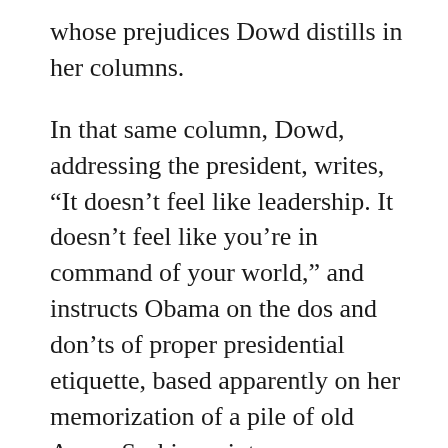whose prejudices Dowd distills in her columns.
In that same column, Dowd, addressing the president, writes, “It doesn’t feel like leadership. It doesn’t feel like you’re in command of your world,” and instructs Obama on the dos and don’ts of proper presidential etiquette, based apparently on her memorization of a pile of old Aaron Sorkin scripts:
“[T]he American president should not perpetually use the word ‘eventually.’ And he should not set a tone of resignation with